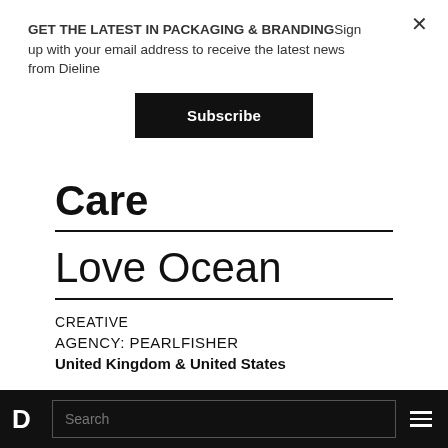GET THE LATEST IN PACKAGING & BRANDINGSign up with your email address to receive the latest news from Dieline
Subscribe
Care
Love Ocean
CREATIVE
AGENCY: PEARLFISHER
United Kingdom & United States
D  Search  ☰